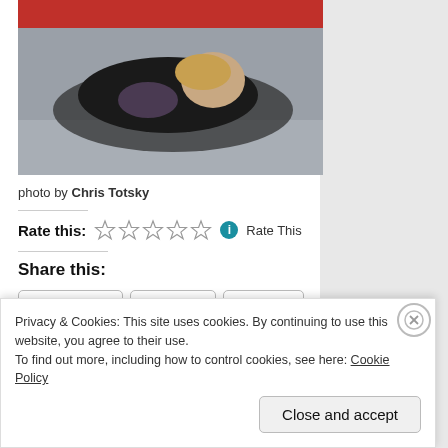[Figure (photo): A gymnast child curled up on a gymnasium floor mat, viewed from the side, wearing black attire]
photo by Chris Totsky
Rate this: ☆☆☆☆☆ ⓘ Rate This
Share this:
Facebook  Twitter  Email  Print
★ Like
Privacy & Cookies: This site uses cookies. By continuing to use this website, you agree to their use.
To find out more, including how to control cookies, see here: Cookie Policy
Close and accept